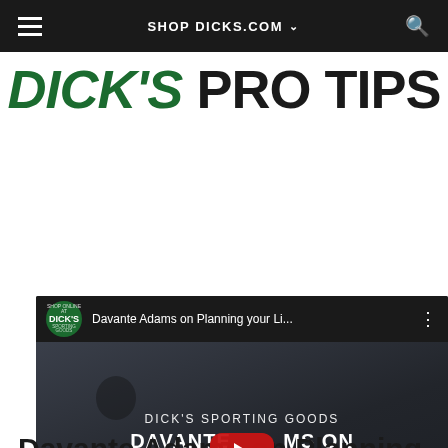SHOP DICKS.COM
DICK'S PRO TIPS
[Figure (screenshot): YouTube video embed showing Dick's Sporting Goods video titled 'Davante Adams on Planning your Li...' with play button overlay. Video text reads: DICK'S SPORTING GOODS / DAVANTE ADAMS ON / PLANNING YOUR SHOE RELEASES / POWERED BY NIKE]
Davante Adams on Planning Your